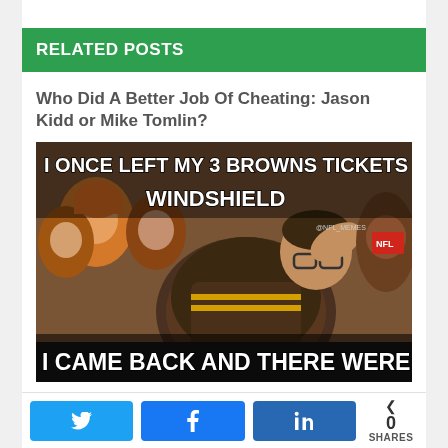RELATED POSTS
Who Did A Better Job Of Cheating: Jason Kidd or Mike Tomlin?
[Figure (photo): Meme image of a dejected Cleveland Browns fan with text: 'I ONCE LEFT MY 3 BROWNS TICKETS ON MY WINDSHIELD' and 'I CAME BACK AND THERE WERE 9']
Cleveland Browns Backup QB Is Best Kep…
0 SHARES — Twitter, Facebook, LinkedIn share buttons